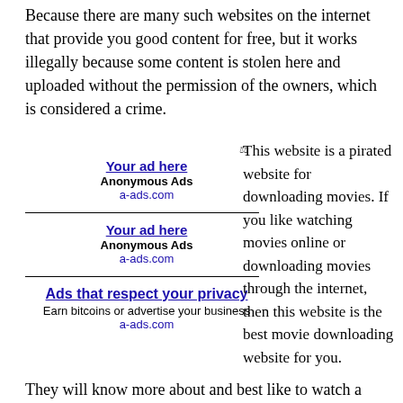Because there are many such websites on the internet that provide you good content for free, but it works illegally because some content is stolen here and uploaded without the permission of the owners, which is considered a crime.
[Figure (other): Advertisement block: 'Your ad here' - Anonymous Ads, a-ads.com (repeated twice) and 'Ads that respect your privacy - Earn bitcoins or advertise your business, a-ads.com']
This website is a pirated website for downloading movies. If you like watching movies online or downloading movies through the internet, then this website is the best movie downloading website for you.
They will know more about and best like to watch a